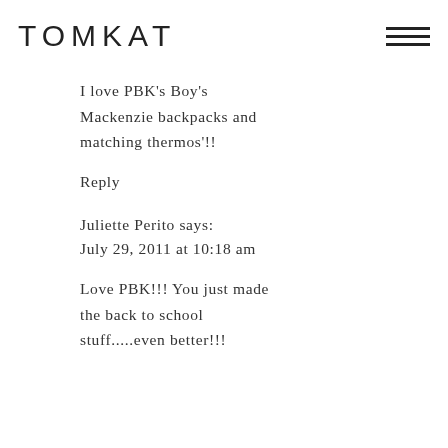TOMKAT
I love PBK's Boy's Mackenzie backpacks and matching thermos'!!
Reply
Juliette Perito says:
July 29, 2011 at 10:18 am
Love PBK!!! You just made the back to school stuff.....even better!!!